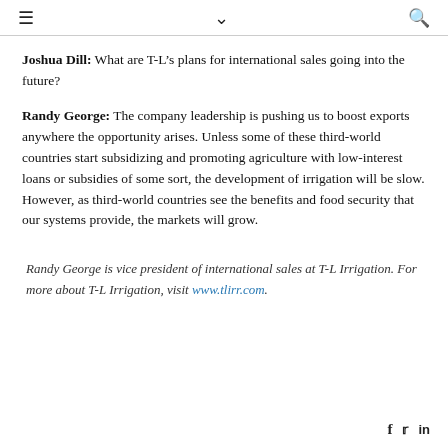≡  ∨  🔍
Joshua Dill: What are T-L's plans for international sales going into the future?
Randy George: The company leadership is pushing us to boost exports anywhere the opportunity arises. Unless some of these third-world countries start subsidizing and promoting agriculture with low-interest loans or subsidies of some sort, the development of irrigation will be slow. However, as third-world countries see the benefits and food security that our systems provide, the markets will grow.
Randy George is vice president of international sales at T-L Irrigation. For more about T-L Irrigation, visit www.tlirr.com.